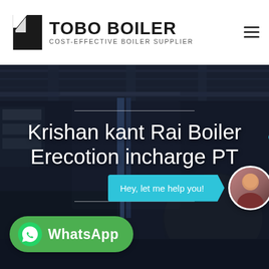TOBO BOILER — COST-EFFECTIVE BOILER SUPPLIER
[Figure (screenshot): Industrial boiler factory/warehouse interior with heavy machinery, steel columns, overhead cranes, and large cylindrical boiler components; dark atmospheric background photo.]
Krishan kant Rai Boiler Erecotion incharge PT GIM
Hey, let me help you!
WhatsApp